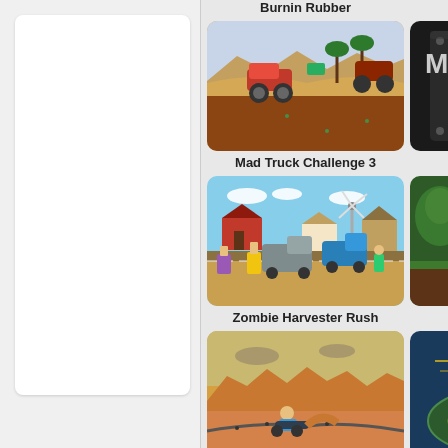[Figure (screenshot): Left panel with white card UI element on gray background]
Burnin Rubber
3D Monst...
[Figure (screenshot): Mad Truck Challenge 3 game thumbnail - monster truck on desert terrain]
[Figure (screenshot): Monsters... game thumbnail - dark metallic monster logo]
Mad Truck Challenge 3
Monsters...
[Figure (screenshot): Zombie Harvester Rush game thumbnail - blocky farm scene with zombies and vehicles]
[Figure (screenshot): Motocros... game thumbnail - jungle/forest scene]
Zombie Harvester Rush
Motocros...
[Figure (screenshot): Bottom left game thumbnail - motorbike on desert terrain]
[Figure (screenshot): Bottom right game thumbnail - kart racing game with blue car]